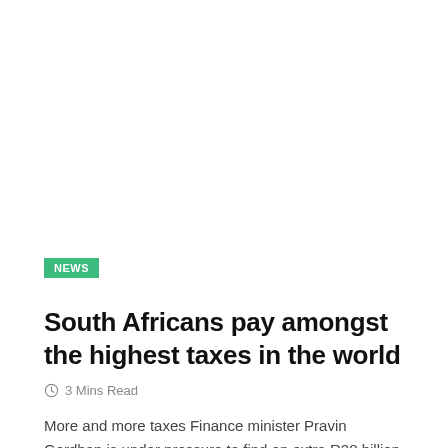NEWS
South Africans pay amongst the highest taxes in the world
3 Mins Read
More and more taxes Finance minister Pravin Gordhan is under pressure to find an extra R28 billion in taxes – which...